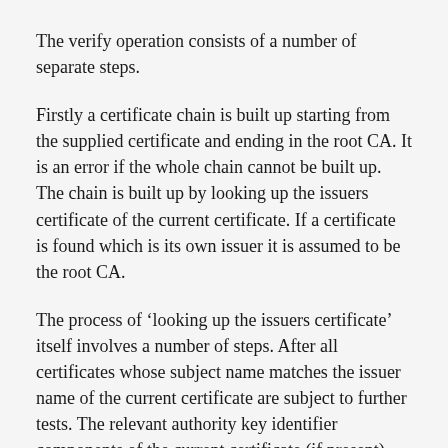The verify operation consists of a number of separate steps.
Firstly a certificate chain is built up starting from the supplied certificate and ending in the root CA. It is an error if the whole chain cannot be built up. The chain is built up by looking up the issuers certificate of the current certificate. If a certificate is found which is its own issuer it is assumed to be the root CA.
The process of 'looking up the issuers certificate' itself involves a number of steps. After all certificates whose subject name matches the issuer name of the current certificate are subject to further tests. The relevant authority key identifier components of the current certificate (if present) must match the subject key identifier (if present) and issuer and serial number of the candidate issuer, in addition the keyUsage extension of the candidate issuer (if present) must be a certificate...